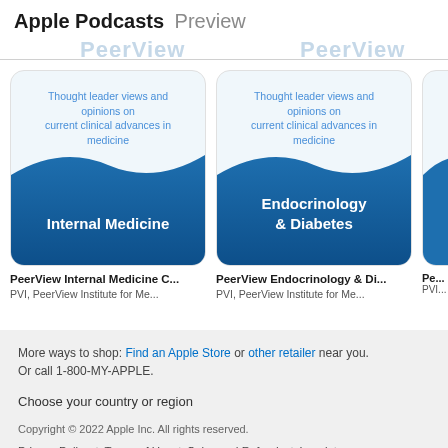Apple Podcasts Preview
[Figure (screenshot): Two podcast cards: 'PeerView Internal Medicine' and 'PeerView Endocrinology & Diabetes', each showing the PeerView logo style with blue wave design and tagline 'Thought leader views and opinions on current clinical advances in medicine'. A third partial card is clipped on the right.]
PeerView Internal Medicine C...
PVI, PeerView Institute for Me...
PeerView Endocrinology & Di...
PVI, PeerView Institute for Me...
More ways to shop: Find an Apple Store or other retailer near you. Or call 1-800-MY-APPLE.

Choose your country or region

Copyright © 2022 Apple Inc. All rights reserved.
Privacy Policy | Terms of Use | Sales and Refunds | Legal | Site Map